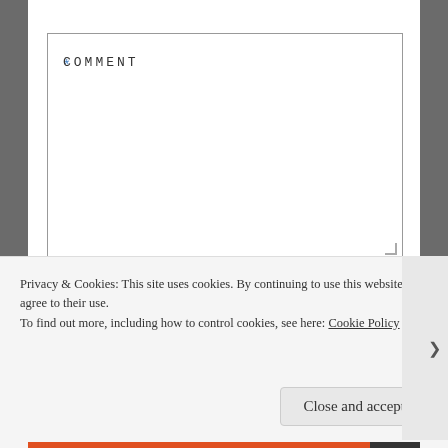COMMENT
*
Privacy & Cookies: This site uses cookies. By continuing to use this website, you agree to their use.
To find out more, including how to control cookies, see here: Cookie Policy
Close and accept